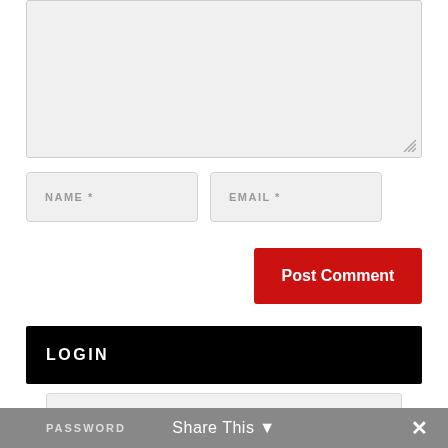[Figure (screenshot): A textarea input field with light gray background and resize handle in bottom right corner]
NAME *
EMAIL *
Post Comment
LOGIN
USERNAME
PASSWORD
Share This
✕